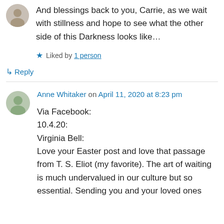And blessings back to you, Carrie, as we wait with stillness and hope to see what the other side of this Darkness looks like…
★ Liked by 1 person
↳ Reply
Anne Whitaker on April 11, 2020 at 8:23 pm
Via Facebook:
10.4.20:
Virginia Bell:
Love your Easter post and love that passage from T. S. Eliot (my favorite). The art of waiting is much undervalued in our culture but so essential. Sending you and your loved ones